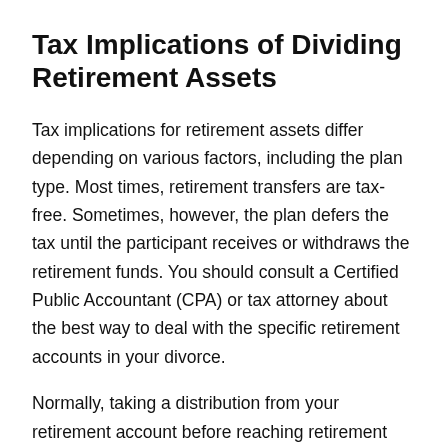Tax Implications of Dividing Retirement Assets
Tax implications for retirement assets differ depending on various factors, including the plan type. Most times, retirement transfers are tax-free. Sometimes, however, the plan defers the tax until the participant receives or withdraws the retirement funds. You should consult a Certified Public Accountant (CPA) or tax attorney about the best way to deal with the specific retirement accounts in your divorce.
Normally, taking a distribution from your retirement account before reaching retirement age counts as an early distribution, which incurs a 10% penalty fee. However, if you're disbursing retirement funds after